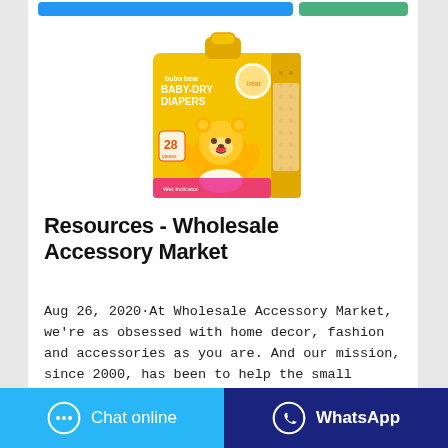[Figure (photo): Yellow packaging of bubu bear Baby-Dry Diapers showing 28 count with cartoon bear mascot]
Resources - Wholesale Accessory Market
Aug 26, 2020·At Wholesale Accessory Market, we're as obsessed with home decor, fashion and accessories as you are. And our mission, since 2000, has been to help the small retailer, in the small town. That's why we hand-
Chat online   WhatsApp